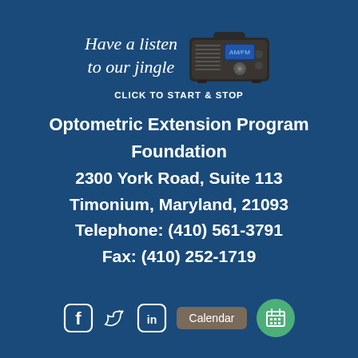[Figure (illustration): Vintage radio illustration with cursive text 'Have a listen to our jingle' and label 'CLICK TO START & STOP']
Optometric Extension Program Foundation
2300 York Road, Suite 113
Timonium, Maryland, 21093
Telephone: (410) 561-3791
Fax: (410) 252-1719
[Figure (illustration): Social media icons (Facebook, Twitter, LinkedIn), a Calendar button, and a green calendar icon circle]